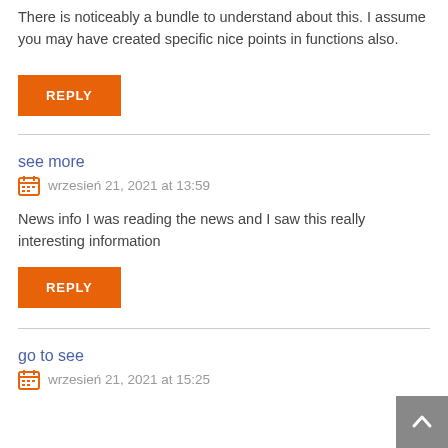There is noticeably a bundle to understand about this. I assume you may have created specific nice points in functions also.
REPLY
see more
wrzesień 21, 2021 at 13:59
News info I was reading the news and I saw this really interesting information
REPLY
go to see
wrzesień 21, 2021 at 15:25